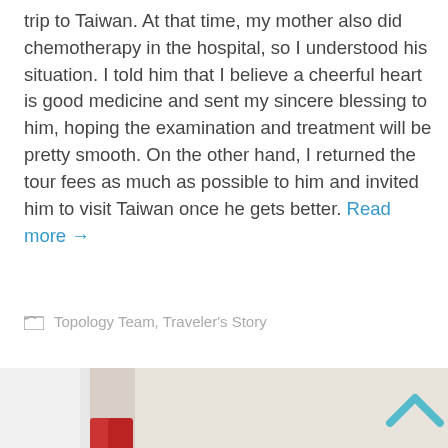trip to Taiwan. At that time, my mother also did chemotherapy in the hospital, so I understood his situation. I told him that I believe a cheerful heart is good medicine and sent my sincere blessing to him, hoping the examination and treatment will be pretty smooth. On the other hand, I returned the tour fees as much as possible to him and invited him to visit Taiwan once he gets better. Read more →
Topology Team, Traveler's Story
[Figure (photo): Photo of a person with two young girls making playful poses, indoor setting with red chairs visible in background]